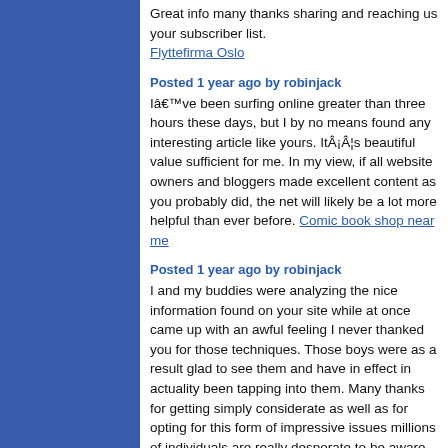Great info many thanks sharing and reaching us your subscriber list. Flyttefirma Oslo
Posted 1 year ago by robinjack
Iâ€™ve been surfing online greater than three hours these days, but I by no means found any interesting article like yours. ItÂ¡Â¦s beautiful value sufficient for me. In my view, if all website owners and bloggers made excellent content as you probably did, the net will likely be a lot more helpful than ever before. Comic book shop near me
Posted 1 year ago by robinjack
I and my buddies were analyzing the nice information found on your site while at once came up with an awful feeling I never thanked you for those techniques. Those boys were as a result glad to see them and have in effect in actuality been tapping into them. Many thanks for getting simply considerate as well as for opting for this form of impressive issues millions of individuals are really desperate to be aware of. My honest regret for not expressing appreciation to sooner.